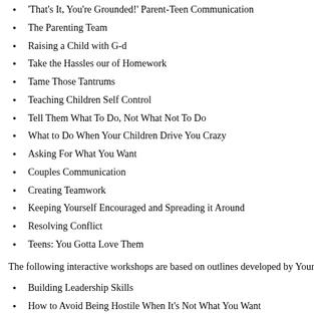'That's It, You're Grounded!' Parent-Teen Communication
The Parenting Team
Raising a Child with G-d
Take the Hassles our of Homework
Tame Those Tantrums
Teaching Children Self Control
Tell Them What To Do, Not What Not To Do
What to Do When Your Children Drive You Crazy
Asking For What You Want
Couples Communication
Creating Teamwork
Keeping Yourself Encouraged and Spreading it Around
Resolving Conflict
Teens: You Gotta Love Them
The following interactive workshops are based on outlines developed by Your Infini…
Building Leadership Skills
How to Avoid Being Hostile When It's Not What You Want
How to Keep Your Past and Future from Ruining Your Day
Keys to Increasing Helpfulness
Turning Criticism Into Power
Feel free to contact me for more information.